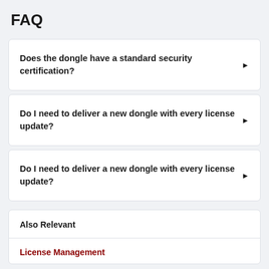FAQ
Does the dongle have a standard security certification?
Do I need to deliver a new dongle with every license update?
Do I need to deliver a new dongle with every license update?
Also Relevant
License Management